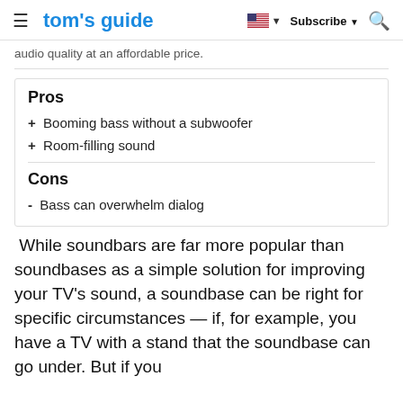tom's guide | Subscribe
audio quality at an affordable price.
Pros
+ Booming bass without a subwoofer
+ Room-filling sound
Cons
- Bass can overwhelm dialog
While soundbars are far more popular than soundbases as a simple solution for improving your TV's sound, a soundbase can be right for specific circumstances — if, for example, you have a TV with a stand that the soundbase can go under. But if you